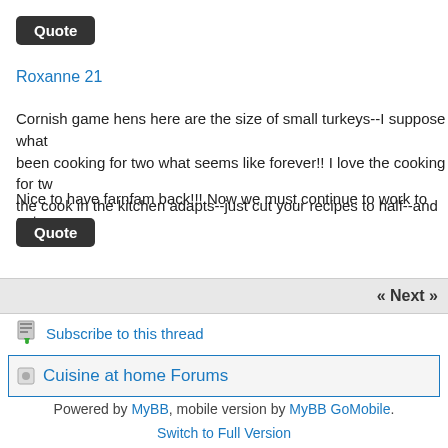Quote
Roxanne 21
Cornish game hens here are the size of small turkeys--I suppose what been cooking for two what seems like forever!! I love the cooking for tw the cook in the kitchen adapts--just cut your recipes to half--and you wi
Nice to have farnfam back!!! Now we must continue to work to get som
Quote
« Next »
Subscribe to this thread
Cuisine at home Forums
Powered by MyBB, mobile version by MyBB GoMobile. Switch to Full Version Terms of Service | Privacy Policy